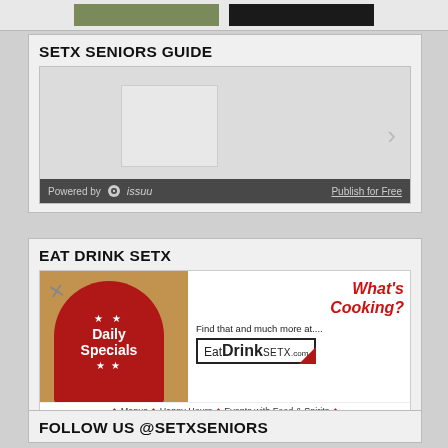[Figure (photo): Partial top strip showing two cropped images]
SETX SENIORS GUIDE
[Figure (screenshot): Issuu widget viewer with expand icon, forward arrow, and footer bar showing 'Powered by issuu' and 'Publish for Free' link]
EAT DRINK SETX
[Figure (illustration): What's Cooking? advertisement with Daily Specials logo on left and EatDrinkSETX.com branding on right; bottom bar reads Menus, Happy Hours, Events with Food & Spirits]
FOLLOW US @SETXSENIORS